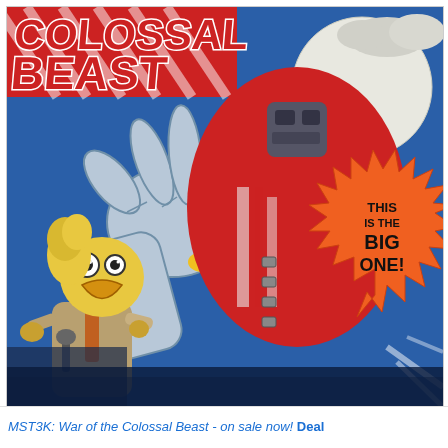[Figure (illustration): Comic book cover illustration for 'MST3K: War of the Colossal Beast'. Shows a large robot/monster hand reaching down from upper left, a large red cylindrical mechanical robot body in the center, a cartoon puppet character with yellow hair and large beak/mouth wearing a suit at lower left, and an orange starburst badge on the right reading 'THIS IS THE BIG ONE!' Background is blue sky with clouds and a large white moon. Red and white diagonal striped text 'COLOSSAL BEAST' at top in bold comic lettering.]
MST3K: War of the Colossal Beast - on sale now! Deal